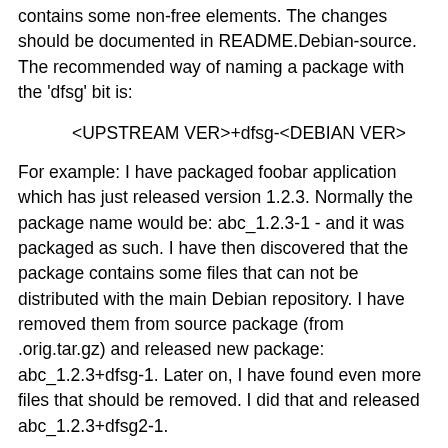contains some non-free elements. The changes should be documented in README.Debian-source. The recommended way of naming a package with the 'dfsg' bit is:
<UPSTREAM VER>+dfsg-<DEBIAN VER>
For example: I have packaged foobar application which has just released version 1.2.3. Normally the package name would be: abc_1.2.3-1 - and it was packaged as such. I have then discovered that the package contains some files that can not be distributed with the main Debian repository. I have removed them from source package (from .orig.tar.gz) and released new package: abc_1.2.3+dfsg-1. Later on, I have found even more files that should be removed. I did that and released abc_1.2.3+dfsg2-1.
How do I create debian/watch for download